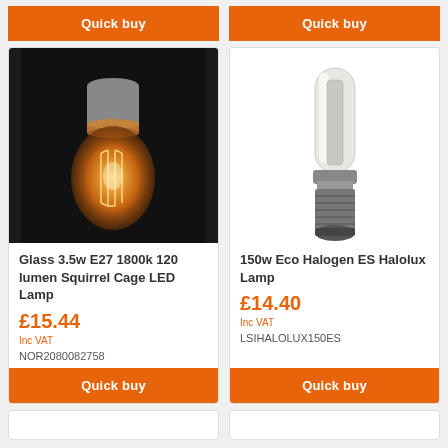[Figure (other): Quick buy button top left]
[Figure (other): Quick buy button top right]
[Figure (photo): Glass 3.5w E27 1800k 120 lumen Squirrel Cage LED Lamp photo on black background]
Glass 3.5w E27 1800k 120 lumen Squirrel Cage LED Lamp
£15.44
Inc VAT
NOR2080082758
[Figure (photo): 150w Eco Halogen ES Halolux Lamp product photo on white background]
150w Eco Halogen ES Halolux Lamp
£14.40
Inc VAT
LSIHALOLUX150ES
[Figure (other): Quick buy button bottom left]
[Figure (other): Quick buy button bottom right]